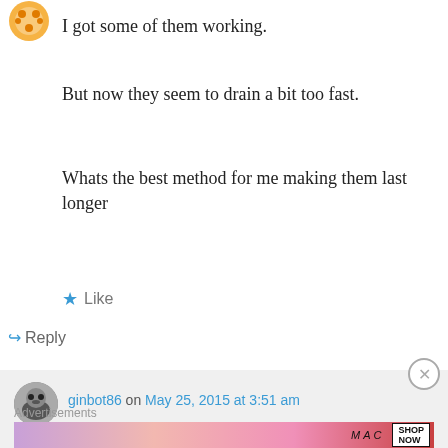[Figure (illustration): Orange user avatar icon at top left]
I got some of them working.
But now they seem to drain a bit too fast.
Whats the best method for me making them last longer
★ Like
↪ Reply
[Figure (illustration): Small round avatar of ginbot86 user with cat/dog photo]
ginbot86 on May 25, 2015 at 3:51 am
See if there is any corrosion on the iPhone
Advertisements
[Figure (illustration): MAC cosmetics advertisement banner with lipsticks and SHOP NOW text]